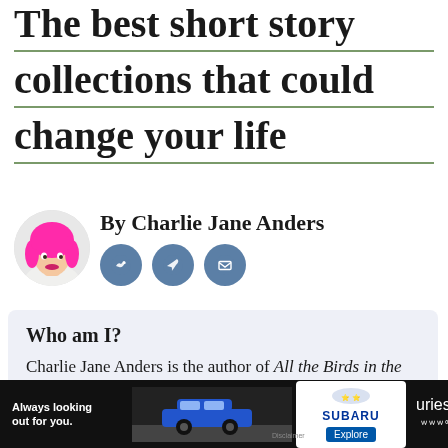The best short story collections that could change your life
By Charlie Jane Anders
[Figure (photo): Circular profile photo of Charlie Jane Anders with bright pink hair and lipstick]
[Figure (infographic): Three circular social media icon buttons: globe/bird icon, quill/feather icon, envelope/mail icon, all in blue-grey]
Who am I?
Charlie Jane Anders is the author of All the Birds in the Sky, which Time Magazine listed as one of the hundred best fantasy
[Figure (photo): Advertisement banner: Subaru car ad with text 'Always looking out for you.' and Explore button]